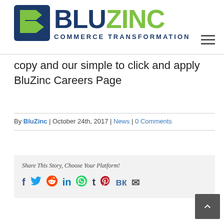[Figure (logo): BluZinc Commerce Transformation logo with blue and green icon and text]
copy and our simple to click and apply BluZinc Careers Page
By BluZinc | October 24th, 2017 | News | 0 Comments
Share This Story, Choose Your Platform!